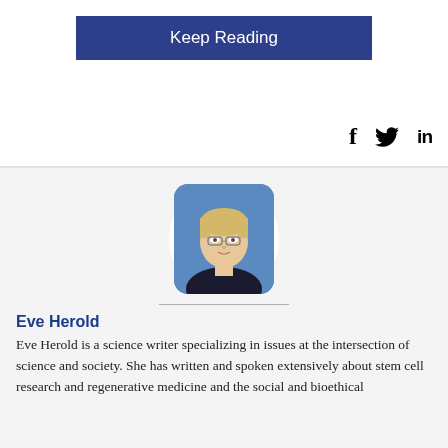[Figure (other): Keep Reading button — dark navy blue rectangle with white text 'Keep Reading']
[Figure (other): Social media share icons: Facebook (f), Twitter (bird), LinkedIn (in)]
[Figure (photo): Portrait photo of Eve Herold, a blonde woman wearing glasses, against a blue background, with rounded corners]
Eve Herold
Eve Herold is a science writer specializing in issues at the intersection of science and society. She has written and spoken extensively about stem cell research and regenerative medicine and the social and bioethical